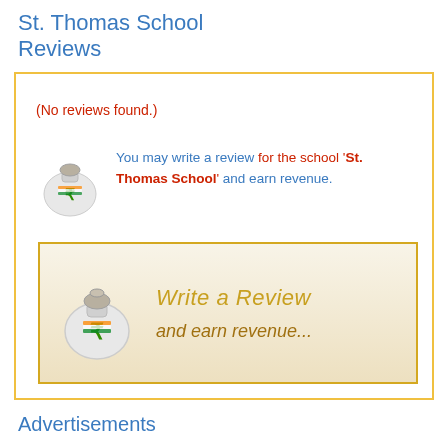St. Thomas School Reviews
(No reviews found.)
You may write a review for the school 'St. Thomas School' and earn revenue.
[Figure (illustration): Promotional banner with money bag illustration and text 'Write a Review and earn revenue...']
Advertisements